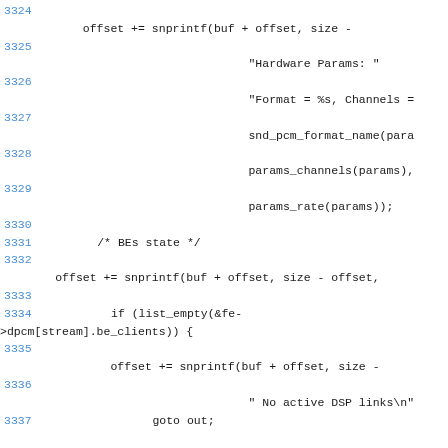Source code listing showing lines 3324-3337 of a C source file with ALSA PCM audio driver code